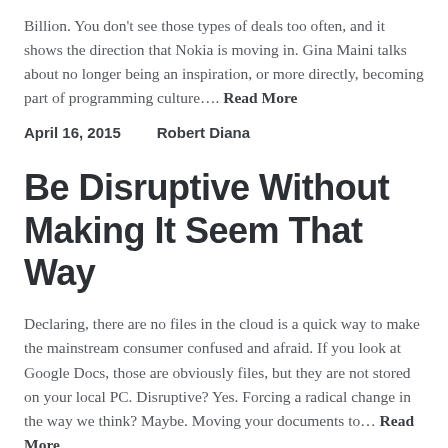Billion. You don't see those types of deals too often, and it shows the direction that Nokia is moving in. Gina Maini talks about no longer being an inspiration, or more directly, becoming part of programming culture…. Read More
April 16, 2015    Robert Diana
Be Disruptive Without Making It Seem That Way
Declaring, there are no files in the cloud is a quick way to make the mainstream consumer confused and afraid. If you look at Google Docs, those are obviously files, but they are not stored on your local PC. Disruptive? Yes. Forcing a radical change in the way we think? Maybe. Moving your documents to… Read More